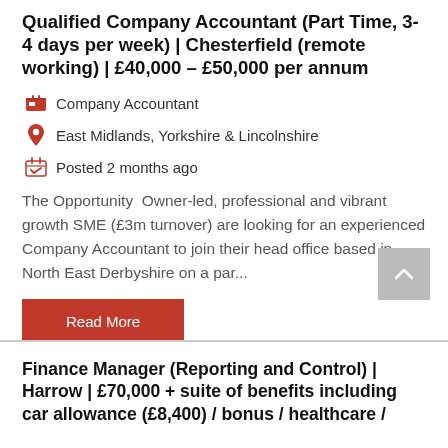Qualified Company Accountant (Part Time, 3-4 days per week) | Chesterfield (remote working) | £40,000 – £50,000 per annum
Company Accountant
East Midlands, Yorkshire & Lincolnshire
Posted 2 months ago
The Opportunity  Owner-led, professional and vibrant growth SME (£3m turnover) are looking for an experienced Company Accountant to join their head office based in North East Derbyshire on a par...
Finance Manager (Reporting and Control) | Harrow | £70,000 + suite of benefits including car allowance (£8,400) / bonus / healthcare /